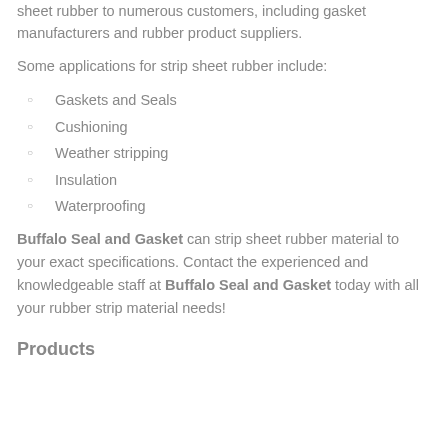sheet rubber to numerous customers, including gasket manufacturers and rubber product suppliers.
Some applications for strip sheet rubber include:
Gaskets and Seals
Cushioning
Weather stripping
Insulation
Waterproofing
Buffalo Seal and Gasket can strip sheet rubber material to your exact specifications. Contact the experienced and knowledgeable staff at Buffalo Seal and Gasket today with all your rubber strip material needs!
Products